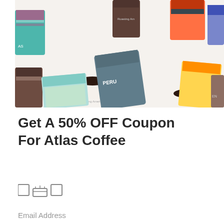[Figure (photo): Flat lay product photo showing multiple colorful coffee bags and white coffee mugs with black coffee, arranged on a white background. Includes bags labeled 'PERU' and others with vibrant patterned packaging.]
Get A 50% OFF Coupon For Atlas Coffee
☕ (icon row with coffee/envelope icons)
Email Address